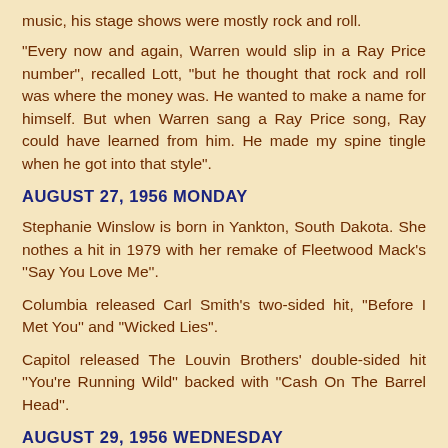music, his stage shows were mostly rock and roll.
"Every now and again, Warren would slip in a Ray Price number", recalled Lott, "but he thought that rock and roll was where the money was. He wanted to make a name for himself. But when Warren sang a Ray Price song, Ray could have learned from him. He made my spine tingle when he got into that style".
AUGUST 27, 1956 MONDAY
Stephanie Winslow is born in Yankton, South Dakota. She nothes a hit in 1979 with her remake of Fleetwood Mack's ''Say You Love Me''.
Columbia released Carl Smith's two-sided hit, ''Before I Met You'' and ''Wicked Lies''.
Capitol released The Louvin Brothers' double-sided hit ''You're Running Wild'' backed with ''Cash On The Barrel Head''.
AUGUST 29, 1956 WEDNESDAY